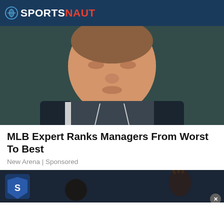SPORTSNAUT
[Figure (photo): Close-up photo of a baseball manager wearing a dark hoodie/vest, seated in a dugout with a blurred green background]
MLB Expert Ranks Managers From Worst To Best
New Arena | Sponsored
[Figure (photo): Partial view of a second article image showing a person with braided hair and a Sportsnaut shield logo watermark, with a close button overlay]